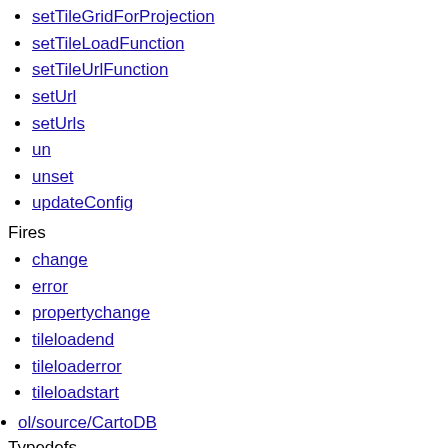setTileGridForProjection
setTileLoadFunction
setTileUrlFunction
setUrl
setUrls
un
unset
updateConfig
Fires
change
error
propertychange
tileloadend
tileloaderror
tileloadstart
ol/source/CartoDB
Typedefs
CartoDBLayerInfo
Options
ol/source/Cluster
Methods